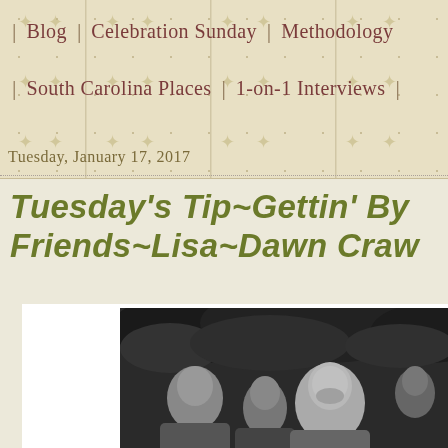Blog | Celebration Sunday | Methodology
South Carolina Places | 1-on-1 Interviews
Tuesday, January 17, 2017
Tuesday's Tip~Gettin' By Friends~Lisa~Dawn Craw
[Figure (photo): Black and white vintage photograph showing a group of people, with a woman smiling in the foreground, trees/foliage in background]